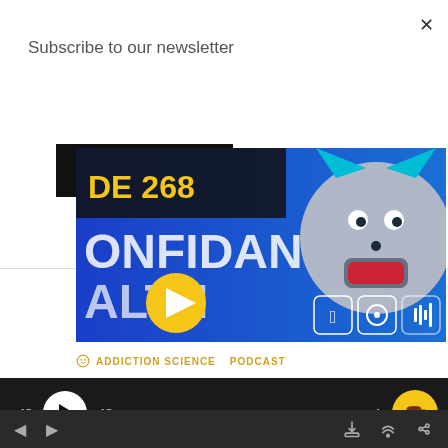Subscribe to our newsletter
Subscribe
[Figure (screenshot): Podcast thumbnail for Confidant Health episode 268 on blue background with cartoon dog mascot and platform icons (Apple, Spotify, Google Podcasts, Podcast Addict). Text reads 'DE 268', 'ONFIDANT', 'ALTH' with a yellow play button.]
ADDICTION SCIENCE   PODCAST
[Figure (screenshot): Podcast audio player bar on dark background showing -15s skip, play button, +15s skip, progress bar, speed control, and coffee/tip button.]